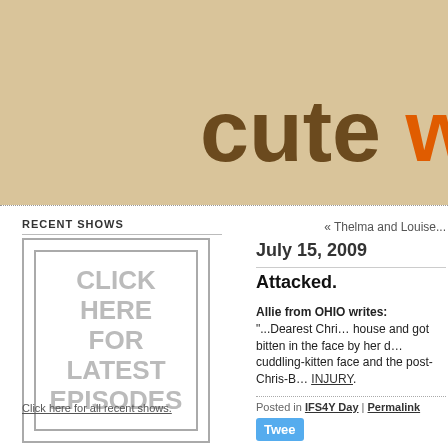[Figure (screenshot): Website header banner with tan/beige background and large bold text reading 'cute w' (partially cropped), 'cute' in dark brown and 'w' in orange]
RECENT SHOWS
[Figure (illustration): Box with text: CLICK HERE FOR LATEST EPISODES]
Click here for all recent shows.
« Thelma and Louise...
July 15, 2009
Attacked.
Allie from OHIO writes: "...Dearest Chri... house and got bitten in the face by her d... cuddling-kitten face and the post-Chris-B... INJURY.
Posted in IFS4Y Day | Permalink
Twee